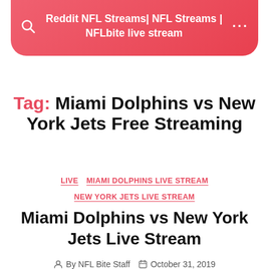Reddit NFL Streams| NFL Streams | NFLbite live stream
Tag: Miami Dolphins vs New York Jets Free Streaming
LIVE  MIAMI DOLPHINS LIVE STREAM  NEW YORK JETS LIVE STREAM
Miami Dolphins vs New York Jets Live Stream
By NFL Bite Staff   October 31, 2019